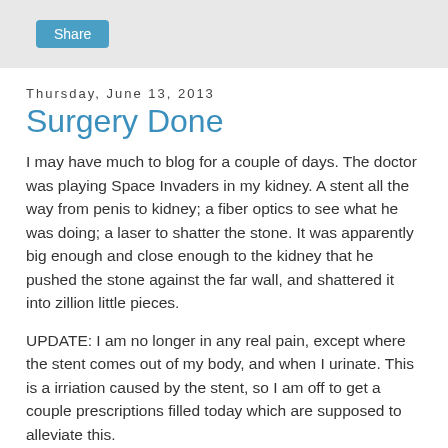Share
Thursday, June 13, 2013
Surgery Done
I may have much to blog for a couple of days.  The doctor was playing Space Invaders in my kidney.  A stent all the way from penis to kidney; a fiber optics to see what he was doing; a laser to shatter the stone.  It was apparently big enough and close enough to the kidney that he pushed the stone against the far wall, and shattered it into zillion little pieces.
UPDATE: I am no longer in any real pain, except where the stent comes out of my body, and when I urinate.  This is a irriation caused by the stent, so I am off to get a couple prescriptions filled today which are supposed to alleviate this.
The urologist said that the mass in the left kidney is likely a cyst; 15% of men over 50 have them, and they are benign.